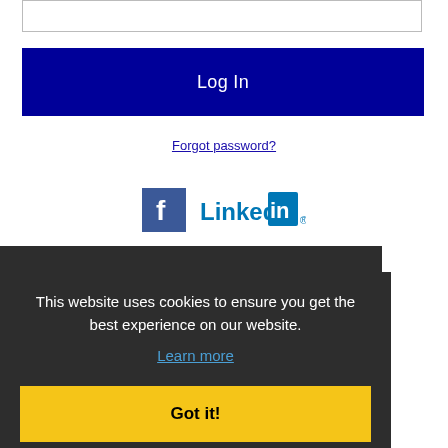[Figure (screenshot): Input field box at top of login form]
Log In
Forgot password?
[Figure (logo): Facebook and LinkedIn social login icons]
Get the latest Massachusetts jobs by following @recnetMA on Twitter!
This website uses cookies to ensure you get the best experience on our website.
Learn more
Got it!